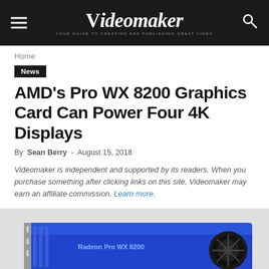Videomaker — YOUR GUIDE TO CREATING AND PUBLISHING GREAT VIDEO
Home
News
AMD's Pro WX 8200 Graphics Card Can Power Four 4K Displays
By Sean Berry - August 15, 2018
Videomaker is independent and supported by its readers. When you purchase something after clicking links on this site, Videomaker may earn an affiliate commission. Learn more.
[Figure (photo): AMD Pro WX 8200 graphics card, blue PCB with fan visible, partial view]